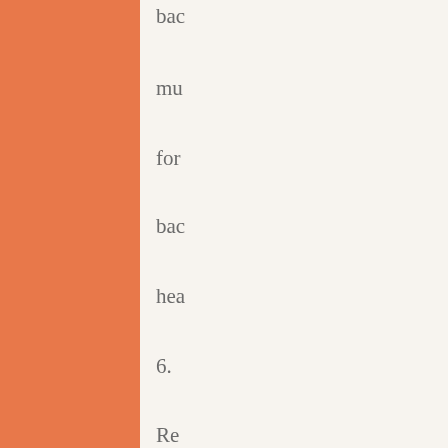bac
mu
for
bac
hea
6.
Re
bre
to
pro
dee
ox;
of
the
blo